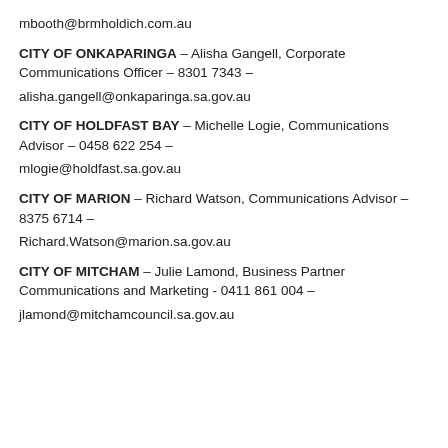mbooth@brmholdich.com.au
CITY OF ONKAPARINGA – Alisha Gangell, Corporate Communications Officer – 8301 7343 –
alisha.gangell@onkaparinga.sa.gov.au
CITY OF HOLDFAST BAY – Michelle Logie, Communications Advisor – 0458 622 254 –
mlogie@holdfast.sa.gov.au
CITY OF MARION – Richard Watson, Communications Advisor – 8375 6714 –
Richard.Watson@marion.sa.gov.au
CITY OF MITCHAM – Julie Lamond, Business Partner Communications and Marketing - 0411 861 004 –
jlamond@mitchamcouncil.sa.gov.au